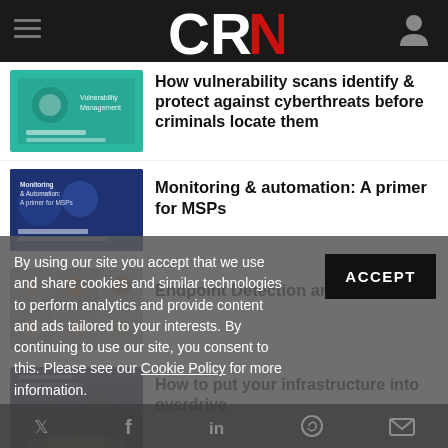CRN
How vulnerability scans identify & protect against cyberthreats before criminals locate them
Monitoring & automation: A primer for MSPs
Endpoint Detection and Response
How to put your infrastructure into overdrive
By using our site you accept that we use and share cookies and similar technologies to perform analytics and provide content and ads tailored to your interests. By continuing to use our site, you consent to this. Please see our Cookie Policy for more information.